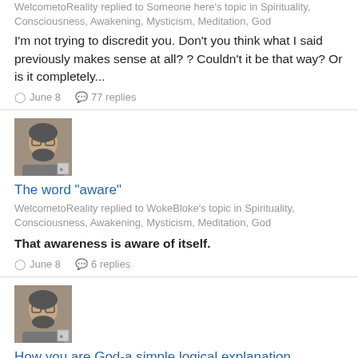WelcometoReality replied to Someone here's topic in Spirituality, Consciousness, Awakening, Mysticism, Meditation, God
I'm not trying to discredit you. Don't you think what I said previously makes sense at all? ? Couldn't it be that way? Or is it completely...
June 8   77 replies
[Figure (photo): Avatar photo of WelcometoReality user]
The word "aware"
WelcometoReality replied to WokeBloke's topic in Spirituality, Consciousness, Awakening, Mysticism, Meditation, God
That awareness is aware of itself.
June 8   6 replies
[Figure (photo): Avatar photo of WelcometoReality user]
How you are God-a simple logical explanation
WelcometoReality replied to Someone here's topic in Spirituality, Consciousness, Awakening, Mysticism, Meditation, God